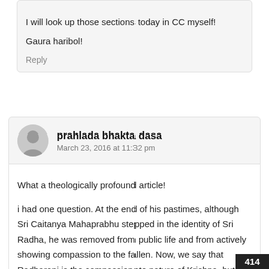I will look up those sections today in CC myself!
Gaura haribol!
Reply
prahlada bhakta dasa
March 23, 2016 at 11:32 pm
What a theologically profound article!
i had one question. At the end of his pastimes, although Sri Caitanya Mahaprabhu stepped in the identity of Sri Radha, he was removed from public life and from actively showing compassion to the fallen. Now, we say that Radharani is the compassionate nature of Krishna, but why is it that when fully becoming Sri Radha Lord Caitanya is removed from...
414